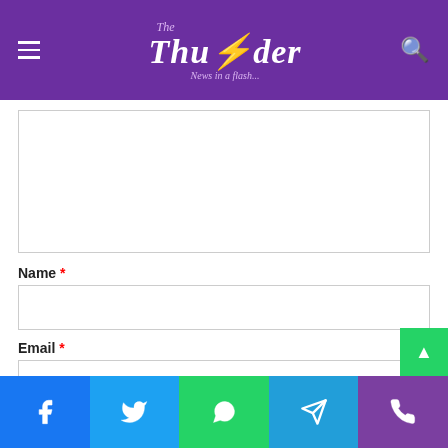[Figure (logo): The Thunder - News in a flash logo on purple header with hamburger menu and search icon]
[Comment text area - empty input field]
Name *
[Name input field - empty]
Email *
[Email input field - empty]
Website
[Figure (infographic): Social sharing bar at bottom: Facebook (blue), Twitter (light blue), WhatsApp (green), Telegram (blue), Phone (purple). Back to top button (green) above.]